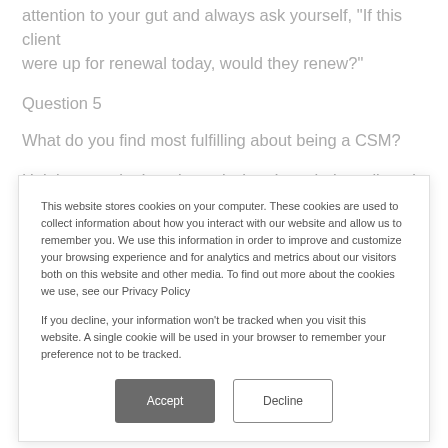attention to your gut and always ask yourself, "If this client were up for renewal today, would they renew?"
Question 5
What do you find most fulfilling about being a CSM?
Helping people. I get jazzed when I can help a client. It could
This website stores cookies on your computer. These cookies are used to collect information about how you interact with our website and allow us to remember you. We use this information in order to improve and customize your browsing experience and for analytics and metrics about our visitors both on this website and other media. To find out more about the cookies we use, see our Privacy Policy

If you decline, your information won't be tracked when you visit this website. A single cookie will be used in your browser to remember your preference not to be tracked.
Accept
Decline